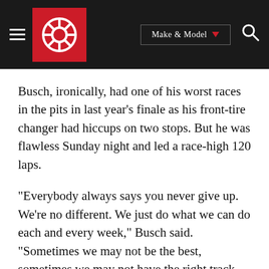Autotrader navigation header with logo, Make & Model selector, and search icon
Busch, ironically, had one of his worst races in the pits in last year’s finale as his front-tire changer had hiccups on two stops. But he was flawless Sunday night and led a race-high 120 laps.
“Everybody always says you never give up. We’re no different. We just do what we can do each and every week,” Busch said. “Sometimes we may not be the best, sometimes we may not have the right track position. We had a really good car and I could race around and move around. That’s what’s so special about Homestead Miami Speedway, is the ability to put on a show.
“I felt like we did that there racing those guys. I know it kind